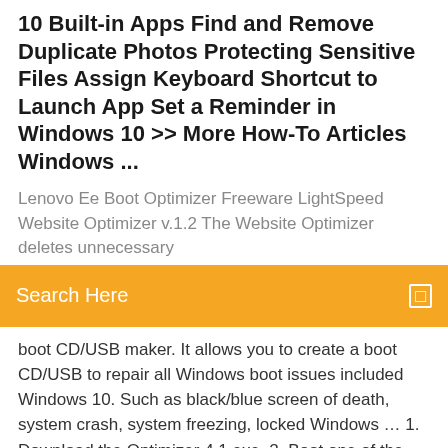10 Built-in Apps Find and Remove Duplicate Photos Protecting Sensitive Files Assign Keyboard Shortcut to Launch App Set a Reminder in Windows 10 >> More How-To Articles Windows ...
Lenovo Ee Boot Optimizer Freeware LightSpeed Website Optimizer v.1.2 The Website Optimizer deletes unnecessary
Search Here
boot CD/USB maker. It allows you to create a boot CD/USB to repair all Windows boot issues included Windows 10. Such as black/blue screen of death, system crash, system freezing, locked Windows … 1. Download the Optimizer 4.1.exe. 2. Boot one of the clients in superclient mode using a freshly uploaded Windows 10 image to desktop and copy then extract the Optimizer-4.1.exe. 3. Right click the optimizer and then run it as administrator, you will see the main window … How to Optimize Lenovo Laptop by Lenovo EE Boot Optimizer. Jun 19, 2016